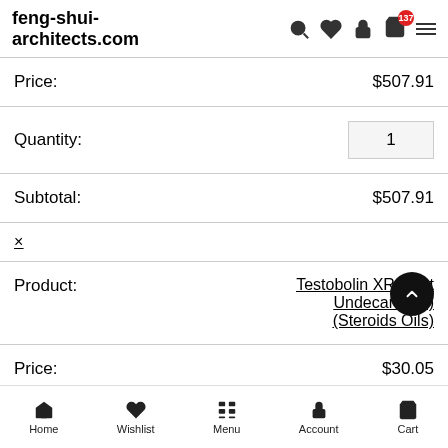feng-shui-architects.com
| Price: | $507.91 |
| Quantity: | 1 |
| Subtotal: | $507.91 |
| × |  |
| Product: | Testobolin XR (Test Undecanoate) (Steroids Oils) |
| Price: | $30.05 |
Home  Wishlist  Menu  Account  Cart